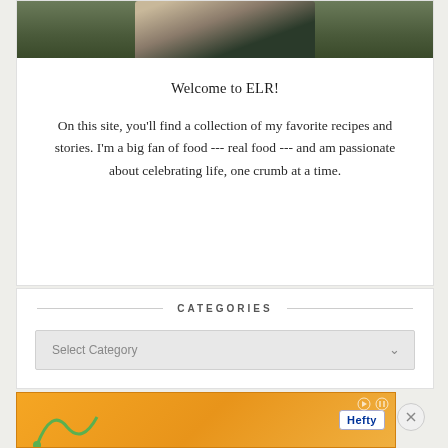[Figure (photo): Partial photo of a person sitting, showing torso and legs in dark clothing against a light background]
Welcome to ELR!
On this site, you'll find a collection of my favorite recipes and stories. I'm a big fan of food --- real food --- and am passionate about celebrating life, one crumb at a time.
CATEGORIES
Select Category
[Figure (infographic): Orange Hefty advertisement banner with green arc graphic on left, Hefty logo badge on right, with play and close controls]